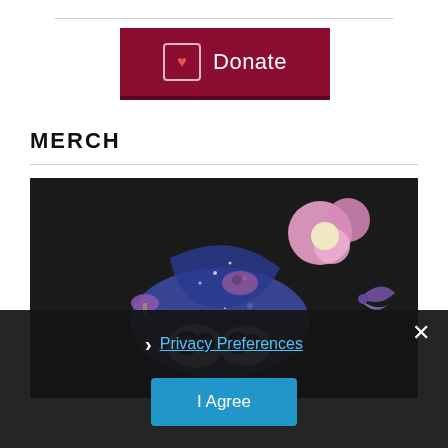[Figure (illustration): A dark red/maroon Donate button with a bracket-heart icon on the left and the word Donate in white text]
MERCH
[Figure (photo): A collection of colorful die-cut stickers or charms featuring fantasy creatures with large eyes, blue spotted bodies, pink flower shapes, and butterfly wings, photographed on a dark textured background]
Privacy Preferences
I Agree